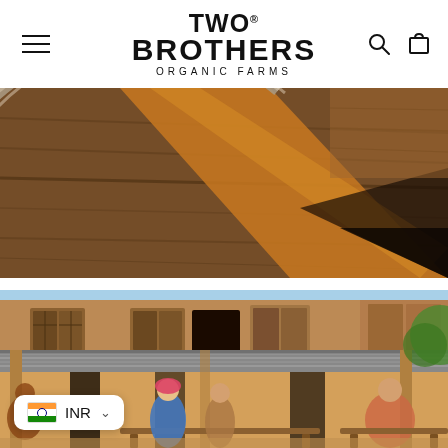TWO® BROTHERS ORGANIC FARMS
[Figure (photo): Close-up overhead view of a wooden surface with a circular metal rim/lid, warm brown tones]
[Figure (photo): Rural village scene with mud/clay houses, people sitting on benches under a veranda in sunlight]
INR